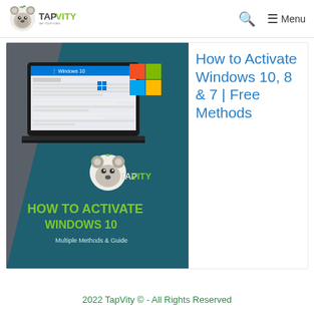TapVity — TAP YOUR FOES | Menu
[Figure (screenshot): Thumbnail image showing a laptop with Windows 10 screen, Microsoft logo, TapVity koala mascot, and text 'HOW TO ACTIVATE WINDOWS 10 Multiple Methods & Guide']
How to Activate Windows 10, 8 & 7 | Free Methods
2022 TapVity © - All Rights Reserved